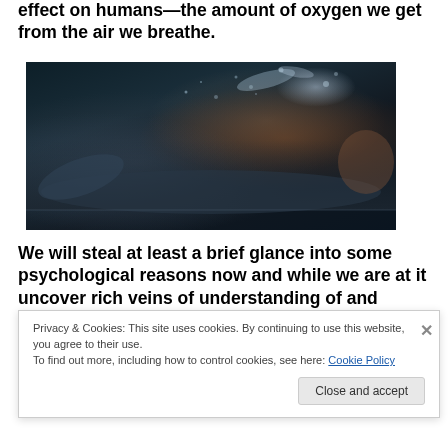effect on humans—the amount of oxygen we get from the air we breathe.
[Figure (photo): A person lying on their back with water or liquid splashing around them, dark cinematic scene with dramatic lighting]
We will steal at least a brief glance into some psychological reasons now and while we are at it uncover rich veins of understanding of and possible
Privacy & Cookies: This site uses cookies. By continuing to use this website, you agree to their use.
To find out more, including how to control cookies, see here: Cookie Policy
Close and accept